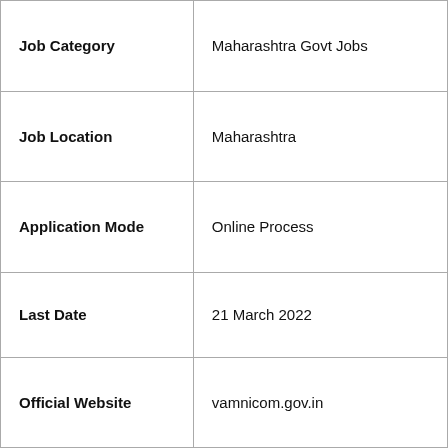| Field | Value |
| --- | --- |
| Job Category | Maharashtra Govt Jobs |
| Job Location | Maharashtra |
| Application Mode | Online Process |
| Last Date | 21 March 2022 |
| Official Website | vamnicom.gov.in |